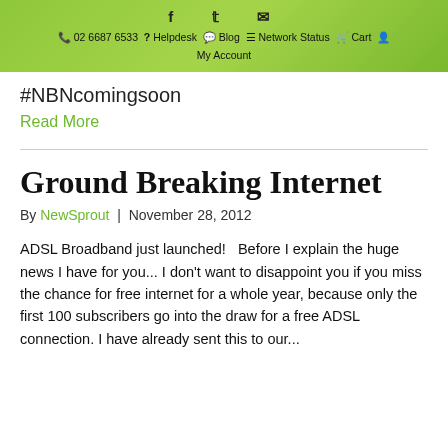f  t  ✉  📞 02 6687 6533  ? Helpdesk  💬 Blog  ☰ Network Status  🛒 Cart  👤 My Account
#NBNcomingsoon
Read More
Ground Breaking Internet
By NewSprout  |  November 28, 2012
ADSL Broadband just launched!   Before I explain the huge news I have for you... I don't want to disappoint you if you miss the chance for free internet for a whole year, because only the first 100 subscribers go into the draw for a free ADSL connection. I have already sent this to our...